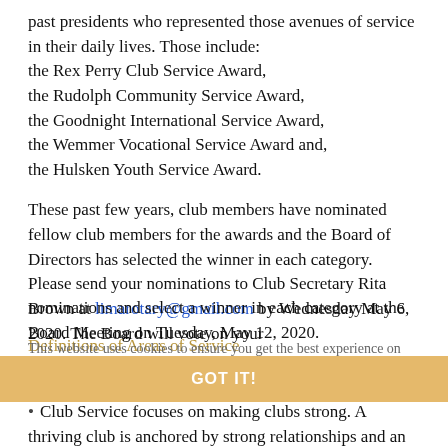past presidents who represented those avenues of service in their daily lives. Those include:
the Rex Perry Club Service Award,
the Rudolph Community Service Award,
the Goodnight International Service Award,
the Wemmer Vocational Service Award and,
the Hulsken Youth Service Award.
These past few years, club members have nominated fellow club members for the awards and the Board of Directors has selected the winner in each category. Please send your nominations to Club Secretary Rita Brown at limarotary@gmail.com by Wednesday May 6, 2020. The Board will vote on your nominations and select a winner in each category at the Board Meeting on Tuesday, May 12, 2020.
This website uses cookies to ensure you get the best experience on our website. Learn more
Definitions of Areas of Service
GOT IT!
Club Service focuses on making clubs strong. A thriving club is anchored by strong relationships and an active membership